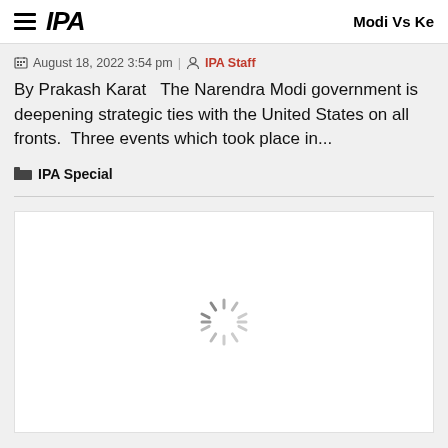IPA  |  Modi Vs Ke…
August 18, 2022 3:54 pm | IPA Staff
By Prakash Karat   The Narendra Modi government is deepening strategic ties with the United States on all fronts.  Three events which took place in...
IPA Special
[Figure (photo): White card with loading spinner, image not yet loaded]